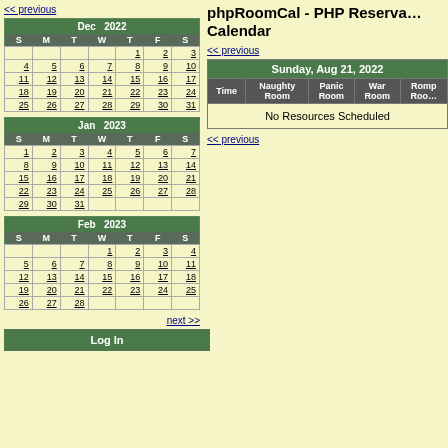<< previous
| S | M | T | W | T | F | S |
| --- | --- | --- | --- | --- | --- | --- |
|  |  |  |  | 1 | 2 | 3 |
| 4 | 5 | 6 | 7 | 8 | 9 | 10 |
| 11 | 12 | 13 | 14 | 15 | 16 | 17 |
| 18 | 19 | 20 | 21 | 22 | 23 | 24 |
| 25 | 26 | 27 | 28 | 29 | 30 | 31 |
| S | M | T | W | T | F | S |
| --- | --- | --- | --- | --- | --- | --- |
| 1 | 2 | 3 | 4 | 5 | 6 | 7 |
| 8 | 9 | 10 | 11 | 12 | 13 | 14 |
| 15 | 16 | 17 | 18 | 19 | 20 | 21 |
| 22 | 23 | 24 | 25 | 26 | 27 | 28 |
| 29 | 30 | 31 |  |  |  |  |
| S | M | T | W | T | F | S |
| --- | --- | --- | --- | --- | --- | --- |
|  |  |  | 1 | 2 | 3 | 4 |
| 5 | 6 | 7 | 8 | 9 | 10 | 11 |
| 12 | 13 | 14 | 15 | 16 | 17 | 18 |
| 19 | 20 | 21 | 22 | 23 | 24 | 25 |
| 26 | 27 | 28 |  |  |  |  |
next >>
Log In
phpRoomCal - PHP Reservation Calendar
<< previous
| Time | Naughty Room | Panic Room | War Room | Romp Room |
| --- | --- | --- | --- | --- |
| No Resources Scheduled |
<< previous